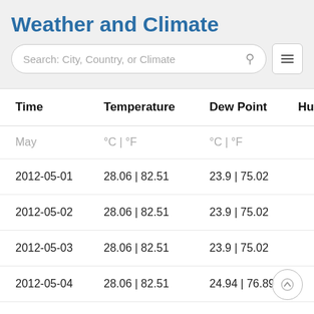Weather and Climate
| Time | Temperature | Dew Point | Hu… |
| --- | --- | --- | --- |
| May | °C | °F | °C | °F |  |
| 2012-05-01 | 28.06 | 82.51 | 23.9 | 75.02 |  |
| 2012-05-02 | 28.06 | 82.51 | 23.9 | 75.02 |  |
| 2012-05-03 | 28.06 | 82.51 | 23.9 | 75.02 |  |
| 2012-05-04 | 28.06 | 82.51 | 24.94 | 76.89 |  |
| 2012-05-05 | 28.06 | 82.51 | 23.9 | 75.02 |  |